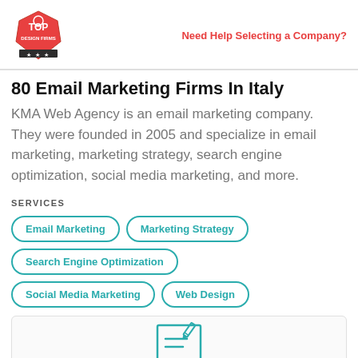Need Help Selecting a Company?
80 Email Marketing Firms In Italy
KMA Web Agency is an email marketing company. They were founded in 2005 and specialize in email marketing, marketing strategy, search engine optimization, social media marketing, and more.
SERVICES
Email Marketing
Marketing Strategy
Search Engine Optimization
Social Media Marketing
Web Design
[Figure (illustration): Teal outline icon of a speech bubble with a pencil/writing symbol inside]